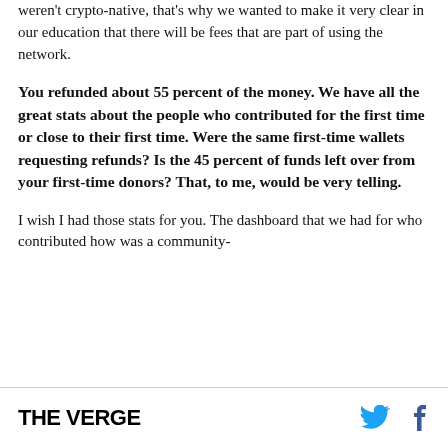weren't crypto-native, that's why we wanted to make it very clear in our education that there will be fees that are part of using the network.
You refunded about 55 percent of the money. We have all the great stats about the people who contributed for the first time or close to their first time. Were the same first-time wallets requesting refunds? Is the 45 percent of funds left over from your first-time donors? That, to me, would be very telling.
I wish I had those stats for you. The dashboard that we had for who contributed how was a community-
THE VERGE